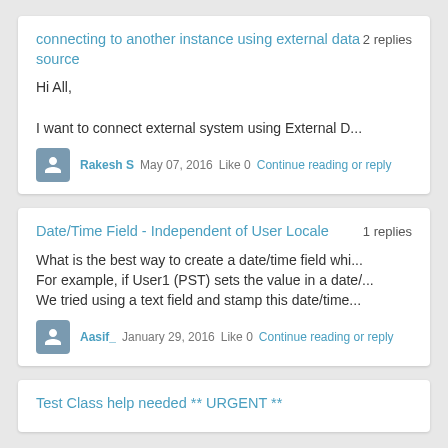connecting to another instance using external data source
2 replies
Hi All,

I want to connect external system using External D...
Rakesh S   May 07, 2016   Like 0   Continue reading or reply
Date/Time Field - Independent of User Locale
1 replies
What is the best way to create a date/time field whi...
For example, if User1 (PST) sets the value in a date/...
We tried using a text field and stamp this date/time...
Aasif_   January 29, 2016   Like 0   Continue reading or reply
Test Class help needed ** URGENT **